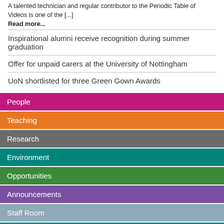A talented technician and regular contributor to the Periodic Table of Videos is one of the [...]
Read more...
Inspirational alumni receive recognition during summer graduation
Offer for unpaid carers at the University of Nottingham
UoN shortlisted for three Green Gown Awards
People
Teaching
Research
Environment
Opportunities
Announcements
Staff Room
UoN blogs
Get social
Newsletters